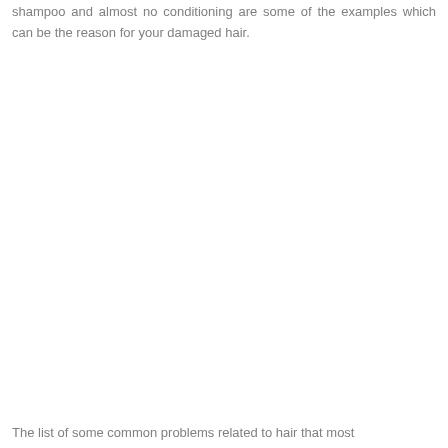shampoo and almost no conditioning are some of the examples which can be the reason for your damaged hair.
The list of some common problems related to hair that most